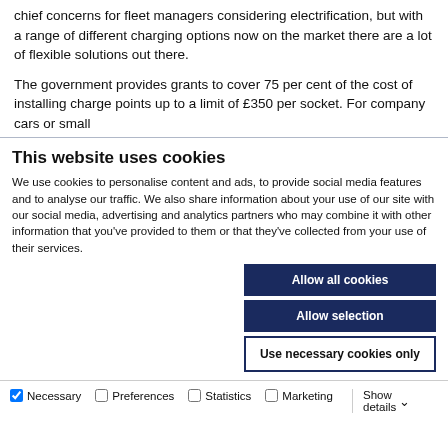chief concerns for fleet managers considering electrification, but with a range of different charging options now on the market there are a lot of flexible solutions out there.
The government provides grants to cover 75 per cent of the cost of installing charge points up to a limit of £350 per socket. For company cars or small
This website uses cookies
We use cookies to personalise content and ads, to provide social media features and to analyse our traffic. We also share information about your use of our site with our social media, advertising and analytics partners who may combine it with other information that you've provided to them or that they've collected from your use of their services.
Allow all cookies
Allow selection
Use necessary cookies only
Necessary  Preferences  Statistics  Marketing  Show details